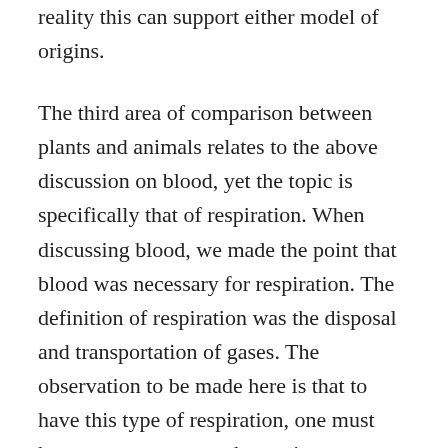reality this can support either model of origins.
The third area of comparison between plants and animals relates to the above discussion on blood, yet the topic is specifically that of respiration. When discussing blood, we made the point that blood was necessary for respiration. The definition of respiration was the disposal and transportation of gases. The observation to be made here is that to have this type of respiration, one must have some structures that assist respiration. These structures are lungs, gills or other breathing apparatus.